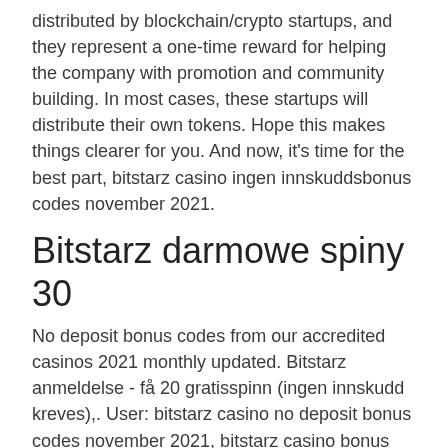distributed by blockchain/crypto startups, and they represent a one-time reward for helping the company with promotion and community building. In most cases, these startups will distribute their own tokens. Hope this makes things clearer for you. And now, it's time for the best part, bitstarz casino ingen innskuddsbonus codes november 2021.
Bitstarz darmowe spiny 30
No deposit bonus codes from our accredited casinos 2021 monthly updated. Bitstarz anmeldelse - få 20 gratisspinn (ingen innskudd kreves),. User: bitstarz casino no deposit bonus codes november 2021, bitstarz casino bonus code,. User: bitstarz casino ingen innskuddsbonus codes november 2021, bitstarz casino promo codes,. Lås opp din